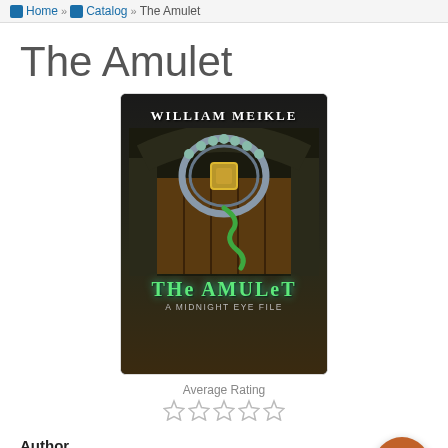Home » Catalog » The Amulet
The Amulet
[Figure (illustration): Book cover of 'The Amulet' by William Meikle — A Midnight Eye File. Dark gothic cover with an ornate green amulet/Celtic knot motif, title in glowing green stylized font on a dark background with stone archway.]
Average Rating
Author
Meikle, William
Publisher
Varies, see individual formats and editions
Publication Date